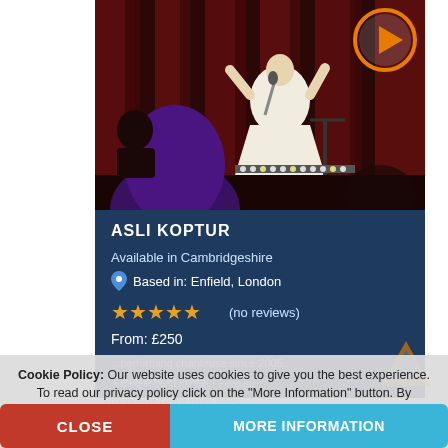[Figure (photo): Singer performing on stage with red curtains in background, audience visible in foreground with purple-haired person]
ASLI KOPTUR
Available in Cambridgeshire
Based in: Enfield, London
★★★★★ (no reviews)
From: £250
Cookie Policy: Our website uses cookies to give you the best experience. To read our privacy policy click on the "More Information" button. By continuing to use our website you acknowledge this notice and give your consent for us to do this.
CLOSE
MORE INFORMATION